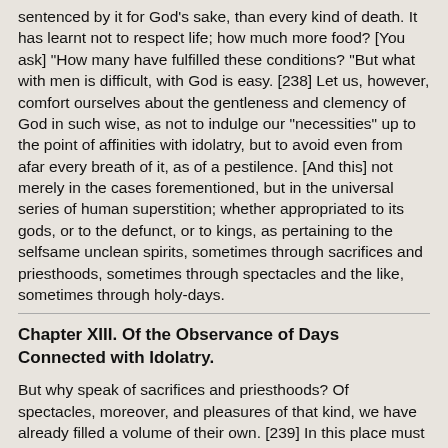sentenced by it for God's sake, than every kind of death. It has learnt not to respect life; how much more food? [You ask] "How many have fulfilled these conditions? "But what with men is difficult, with God is easy. [238] Let us, however, comfort ourselves about the gentleness and clemency of God in such wise, as not to indulge our "necessities" up to the point of affinities with idolatry, but to avoid even from afar every breath of it, as of a pestilence. [And this] not merely in the cases forementioned, but in the universal series of human superstition; whether appropriated to its gods, or to the defunct, or to kings, as pertaining to the selfsame unclean spirits, sometimes through sacrifices and priesthoods, sometimes through spectacles and the like, sometimes through holy-days.
Chapter XIII. Of the Observance of Days Connected with Idolatry.
But why speak of sacrifices and priesthoods? Of spectacles, moreover, and pleasures of that kind, we have already filled a volume of their own. [239] In this place must be handled the subject of holidays and other extraordinary solemnities, which we accord sometimes to our wantonness, sometimes to our timidity, in opposition to the common faith and